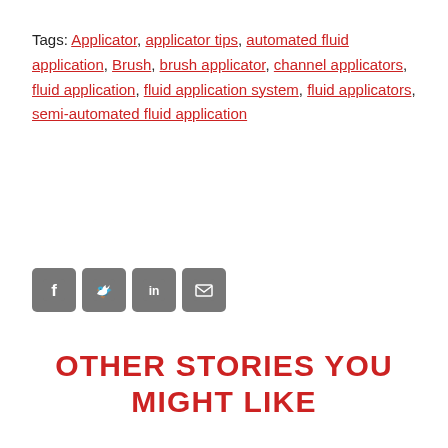Tags: Applicator, applicator tips, automated fluid application, Brush, brush applicator, channel applicators, fluid application, fluid application system, fluid applicators, semi-automated fluid application
[Figure (infographic): Four social media icons in grey rounded square buttons: Facebook, Twitter, LinkedIn, Email/envelope]
OTHER STORIES YOU MIGHT LIKE